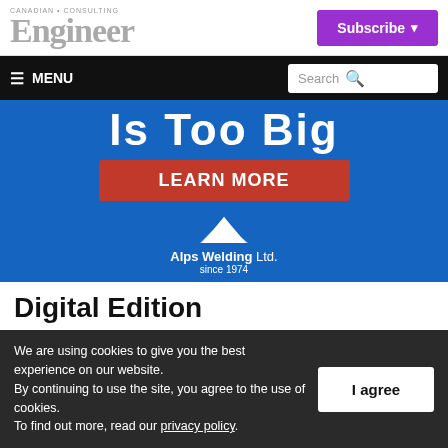CANADIAN CONSULTING Engineer
Subscribe
≡ MENU  Search
[Figure (infographic): Alps Welding Ltd. advertisement banner with blue background. Large white text reads 'Is Too Big'. Red button with white bold text 'LEARN MORE'. White mountain logo above text 'Alps Welding Ltd. since 1974'.]
Digital Edition
We are using cookies to give you the best experience on our website.
By continuing to use the site, you agree to the use of cookies.
To find out more, read our privacy policy.